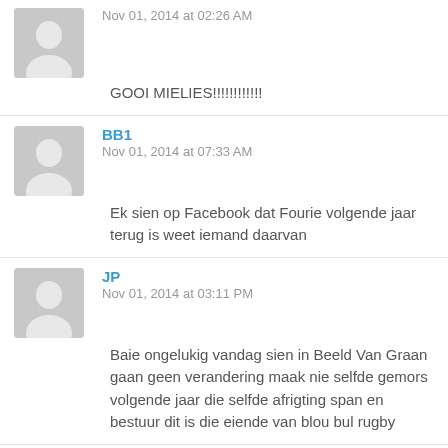Nov 01, 2014 at 02:26 AM
GOOI MIELIES!!!!!!!!!!!
BB1
Nov 01, 2014 at 07:33 AM
Ek sien op Facebook dat Fourie volgende jaar terug is weet iemand daarvan
JP
Nov 01, 2014 at 03:11 PM
Baie ongelukig vandag sien in Beeld Van Graan gaan geen verandering maak nie selfde gemors volgende jaar die selfde afrigting span en bestuur dit is die eiende van blou bul rugby
TINUS